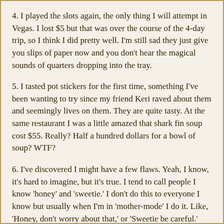4. I played the slots again, the only thing I will attempt in Vegas. I lost $5 but that was over the course of the 4-day trip, so I think I did pretty well. I'm still sad they just give you slips of paper now and you don't hear the magical sounds of quarters dropping into the tray.
5. I tasted pot stickers for the first time, something I've been wanting to try since my friend Keri raved about them and seemingly lives on them. They are quite tasty. At the same restaurant I was a little amazed that shark fin soup cost $55. Really? Half a hundred dollars for a bowl of soup? WTF?
6. I've discovered I might have a few flaws. Yeah, I know, it's hard to imagine, but it's true. I tend to call people I know 'honey' and 'sweetie.' I don't do this to everyone I know but usually when I'm in 'mother-mode' I do it. Like, 'Honey, don't worry about that,' or 'Sweetie be careful.' This might annoy people. I also find that as much as I say I don't want to be a prima dona, I think I might act like one from time to time. When I go to a trade show and am visiting a vendor's booth I sort of expect to be acknowledged. I am mindful of when